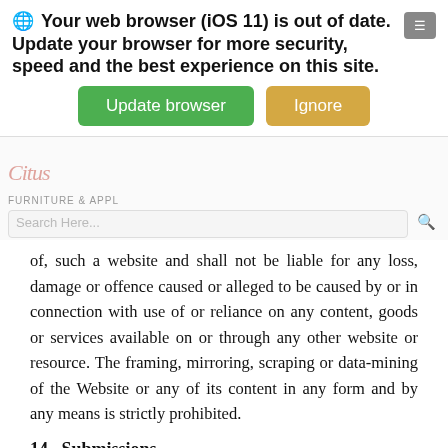[Figure (screenshot): Browser update notification banner: 'Your web browser (iOS 11) is out of date. Update your browser for more security, speed and the best experience on this site.' with green 'Update browser' button and tan 'Ignore' button. Below is a partial website header with logo, tagline 'FURNITURE & APPL...', search bar with 'Search Here' placeholder and search icon.]
of, such a website and shall not be liable for any loss, damage or offence caused or alleged to be caused by or in connection with use of or reliance on any content, goods or services available on or through any other website or resource. The framing, mirroring, scraping or data-mining of the Website or any of its content in any form and by any means is strictly prohibited.
14.  Submissions
While Retailer welcomes your comments and feedback regarding the Website and Retailer's products and services. Retailer does not wish to